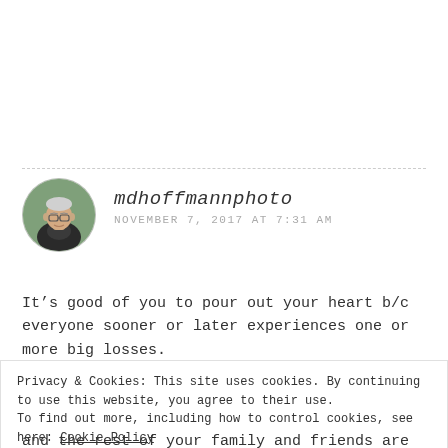[Figure (photo): Circular avatar photo of an older man with white/grey hair, outdoors, with a dashed circular border]
mdhoffmannphoto
NOVEMBER 7, 2017 AT 7:31 AM
It’s good of you to pour out your heart b/c everyone sooner or later experiences one or more big losses.
Privacy & Cookies: This site uses cookies. By continuing to use this website, you agree to their use.
To find out more, including how to control cookies, see here: Cookie Policy
Close and accept
and the rest of your family and friends are